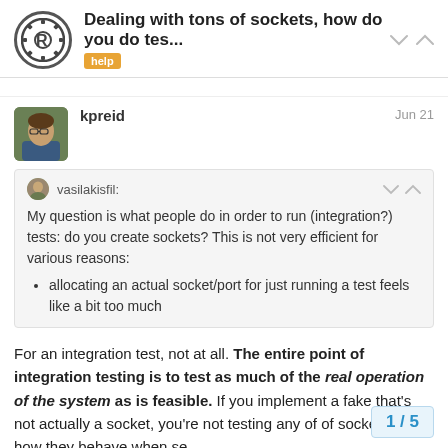Dealing with tons of sockets, how do you do tes... | help
kpreid  Jun 21
vasilakisfil: My question is what people do in order to run (integration?) tests: do you create sockets? This is not very efficient for various reasons: allocating an actual socket/port for just running a test feels like a bit too much
For an integration test, not at all. The entire point of integration testing is to test as much of the real operation of the system as is feasible. If you implement a fake that's not actually a socket, you're not testing any of of sockets (e.g. how they behave when se
1 / 5